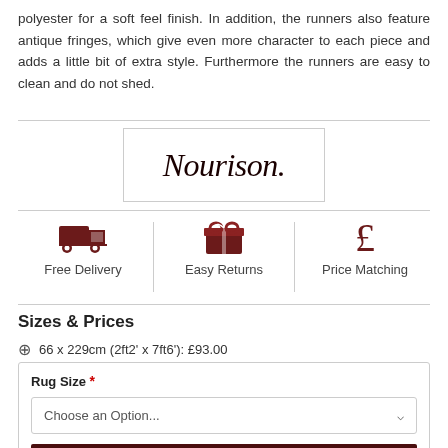polyester for a soft feel finish. In addition, the runners also feature antique fringes, which give even more character to each piece and adds a little bit of extra style. Furthermore the runners are easy to clean and do not shed.
[Figure (logo): Nourison brand logo in cursive script inside a rectangular border]
Free Delivery | Easy Returns | Price Matching
Sizes & Prices
⊕ 66 x 229cm (2ft2' x 7ft6'): £93.00
Rug Size * Choose an Option... ADD TO CART